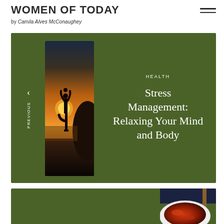WOMEN OF TODAY by Camila Alves McConaughey
[Figure (photo): Hero card with dark green background, yoga silhouette photo at sunset, HEALTH label and article title 'Stress Management: Relaxing Your Mind and Body', with PREVIOUS navigation arrow on left]
HEALTH
Stress Management: Relaxing Your Mind and Body
[Figure (photo): Second card with dark green background and partial food/soup photo on the right side]